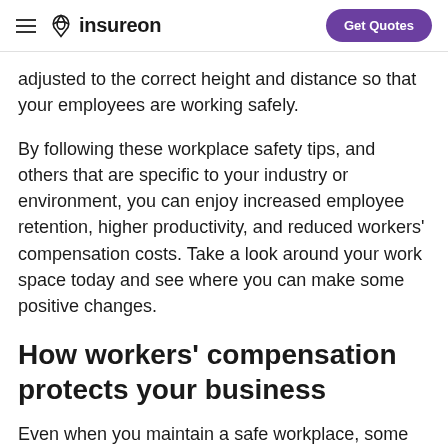insureon | Get Quotes
adjusted to the correct height and distance so that your employees are working safely.
By following these workplace safety tips, and others that are specific to your industry or environment, you can enjoy increased employee retention, higher productivity, and reduced workers’ compensation costs. Take a look around your work space today and see where you can make some positive changes.
How workers' compensation protects your business
Even when you maintain a safe workplace, some